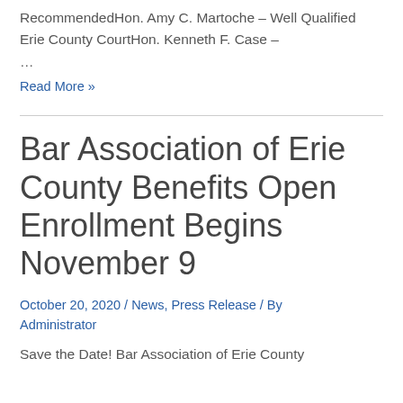RecommendedHon. Amy C. Martoche – Well Qualified Erie County CourtHon. Kenneth F. Case –
...
Read More »
Bar Association of Erie County Benefits Open Enrollment Begins November 9
October 20, 2020 / News, Press Release / By Administrator
Save the Date! Bar Association of Erie County